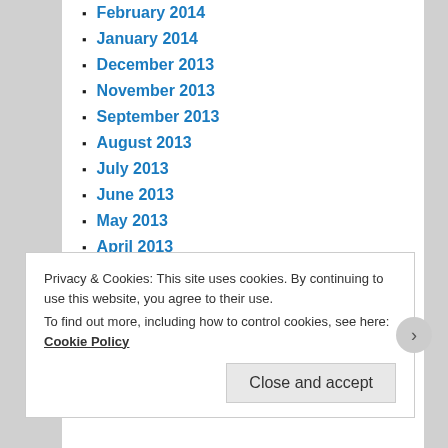February 2014
January 2014
December 2013
November 2013
September 2013
August 2013
July 2013
June 2013
May 2013
April 2013
March 2013
February 2013
January 2013
December 2012
November 2012
Privacy & Cookies: This site uses cookies. By continuing to use this website, you agree to their use. To find out more, including how to control cookies, see here: Cookie Policy
Close and accept